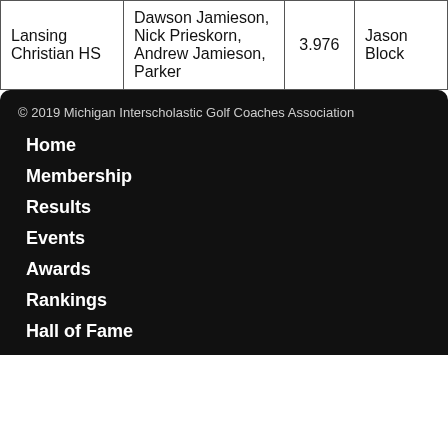| Lansing Christian HS | Dawson Jamieson, Nick Prieskorn, Andrew Jamieson, Parker | 3.976 | Jason Block |
© 2019 Michigan Interscholastic Golf Coaches Association
Home
Membership
Results
Events
Awards
Rankings
Hall of Fame